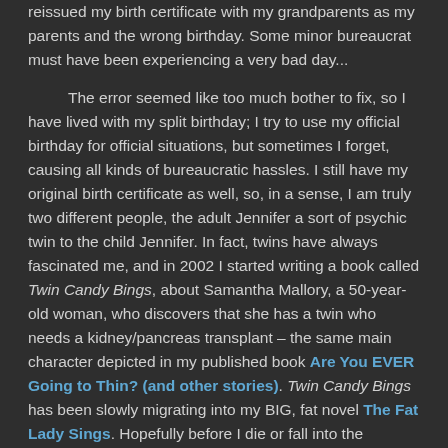reissued my birth certificate with my grandparents as my parents and the wrong birthday. Some minor bureaucrat must have been experiencing a very bad day...
The error seemed like too much bother to fix, so I have lived with my split birthday; I try to use my official birthday for official situations, but sometimes I forget, causing all kinds of bureaucratic hassles. I still have my original birth certificate as well, so, in a sense, I am truly two different people, the adult Jennifer a sort of psychic twin to the child Jennifer. In fact, twins have always fascinated me, and in 2002 I started writing a book called Twin Candy Bings, about Samantha Mallory, a 50-year-old woman, who discovers that she has a twin who needs a kidney/pancreas transplant – the same main character depicted in my published book Are You EVER Going to Thin? (and other stories). Twin Candy Bings has been slowly migrating into my BIG, fat novel The Fat Lady Sings. Hopefully before I die or fall into the Alzheimer's pit, which is the same as dying, I will finish THE BIG NOVEL.
Therefore, I'm a de facto twin; one of my M.F.A. advisors, Michael Klein, is a twin – a happenstance that cannot be a